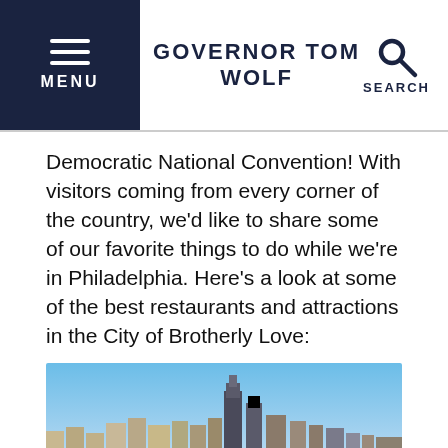GOVERNOR TOM WOLF
Democratic National Convention! With visitors coming from every corner of the country, we'd like to share some of our favorite things to do while we're in Philadelphia. Here's a look at some of the best restaurants and attractions in the City of Brotherly Love:
[Figure (photo): Aerial view of Philadelphia city skyline with skyscrapers, tree-lined boulevard, and urban neighborhoods under blue sky.]